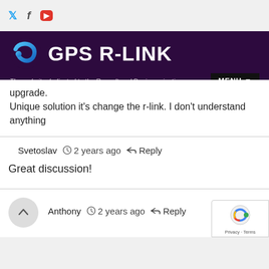GPS R-LINK – The website dedicated to the Renault and Dacia navigation systems
upgrade.
Unique solution it's change the r-link. I don't understand anything
Svetoslav  2 years ago  Reply
Great discussion!
Anthony  2 years ago  Reply